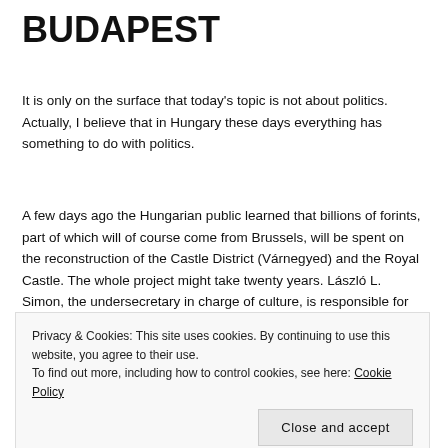BUDAPEST
It is only on the surface that today's topic is not about politics. Actually, I believe that in Hungary these days everything has something to do with politics.
A few days ago the Hungarian public learned that billions of forints, part of which will of course come from Brussels, will be spent on the reconstruction of the Castle District (Várnegyed) and the Royal Castle. The whole project might take twenty years. László L. Simon, the undersecretary in charge of culture, is responsible for the project, named the National (what else?) Hauszmann Plan. The plan is grandiose and, in my opinion, unnecessary. Fueling it, I suspect, is Viktor Orbán's megalomania.
Privacy & Cookies: This site uses cookies. By continuing to use this website, you agree to their use.
To find out more, including how to control cookies, see here: Cookie Policy
and "modernized" by several of his successors. During the Turkish